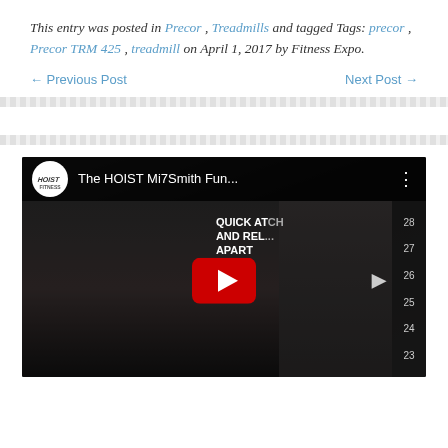This entry was posted in Precor , Treadmills and tagged Tags: precor , Precor TRM 425 , treadmill on April 1, 2017 by Fitness Expo.
← Previous Post    Next Post →
[Figure (screenshot): YouTube video thumbnail showing a man in a gym setting with the video title 'The HOIST Mi7Smith Fun...' and a red YouTube play button overlay.]